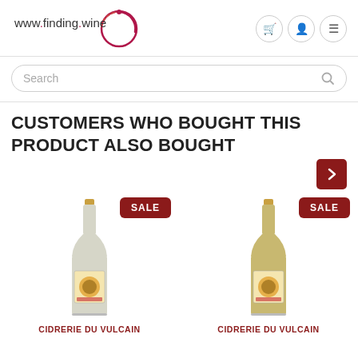www.finding.wine
Search
CUSTOMERS WHO BOUGHT THIS PRODUCT ALSO BOUGHT
[Figure (photo): Bottle of Cidrerie du Vulcain with SALE badge]
[Figure (photo): Bottle of Cidrerie du Vulcain with SALE badge]
CIDRERIE DU VULCAIN
CIDRERIE DU VULCAIN